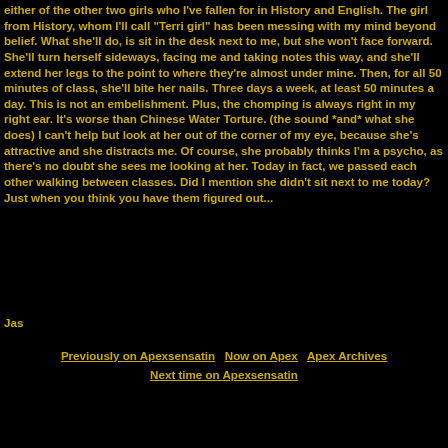either of the other two girls who I've fallen for in History and English. The girl from History, whom I'll call "Terri girl" has been messing with my mind beyond belief. What she'll do, is sit in the desk next to me, but she won't face forward. She'll turn herself sideways, facing me and taking notes this way, and she'll extend her legs to the point to where they're almost under mine. Then, for all 50 minutes of class, she'll bite her nails. Three days a week, at least 50 minutes a day. This is not an embelishment. Plus, the chomping is always right in my right ear. It's worse than Chinese Water Torture. (the sound *and* what she does) I can't help but look at her out of the corner of my eye, because she's attractive and she distracts me. Of course, she probably thinks I'm a psycho, as there's no doubt she sees me looking at her. Today in fact, we passed each other walking between classes. Did I mention she didn't sit next to me today? Just when you think you have them figured out...
Jas
Previously on Apexsensatin   Now on Apex   Apex Archives
Next time on Apexsensatin